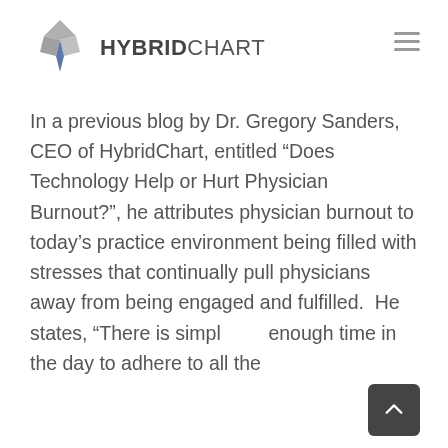HybridChart
In a previous blog by Dr. Gregory Sanders, CEO of HybridChart, entitled “Does Technology Help or Hurt Physician Burnout?”, he attributes physician burnout to today’s practice environment being filled with stresses that continually pull physicians away from being engaged and fulfilled.  He states, “There is simply not enough time in the day to adhere to all the